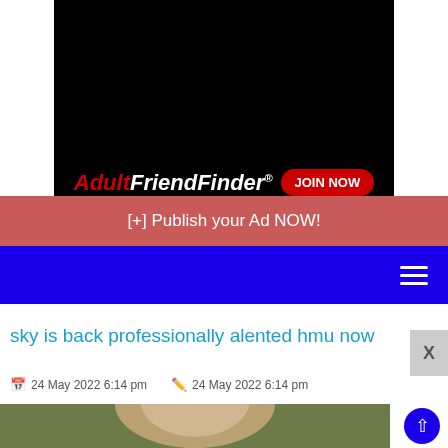[Figure (other): AdultFriendFinder advertisement banner with black background and red/white logo with JOIN NOW button]
[+] Publish your Ad NOW!
[Figure (other): Blue navigation bar with hamburger menu icon on right]
sky is back professionally alented hmu now
24 May 2022 6:14 pm   24 May 2022 6:14 pm
[Figure (photo): Partial photo of a person with blonde hair outdoors with greenery background]